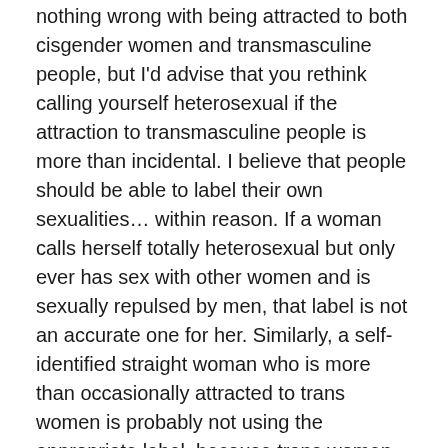nothing wrong with being attracted to both cisgender women and transmasculine people, but I'd advise that you rethink calling yourself heterosexual if the attraction to transmasculine people is more than incidental. I believe that people should be able to label their own sexualities… within reason. If a woman calls herself totally heterosexual but only ever has sex with other women and is sexually repulsed by men, that label is not an accurate one for her. Similarly, a self-identified straight woman who is more than occasionally attracted to trans women is probably not using the appropriate label, because trans women are women.
What you should say instead: